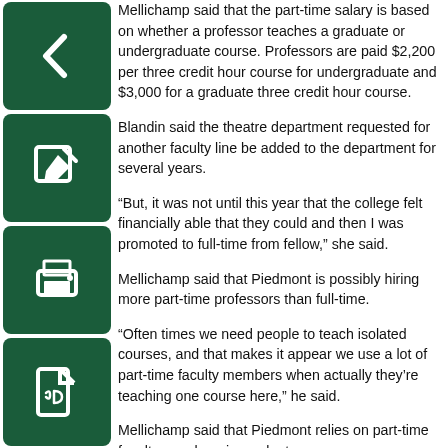[Figure (other): Dark green back arrow button icon]
[Figure (other): Dark green edit/pencil button icon]
[Figure (other): Dark green print button icon]
[Figure (other): Dark green PDF document button icon]
Mellichamp said that the part-time salary is based on whether a professor teaches a graduate or undergraduate course. Professors are paid $2,200 per three credit hour course for undergraduate and $3,000 for a graduate three credit hour course.
Blandin said the theatre department requested for another faculty line be added to the department for several years.
“But, it was not until this year that the college felt financially able that they could and then I was promoted to full-time from fellow,” she said.
Mellichamp said that Piedmont is possibly hiring more part-time professors than full-time.
“Often times we need people to teach isolated courses, and that makes it appear we use a lot of part-time faculty members when actually they’re teaching one course here,” he said.
Mellichamp said that Piedmont relies on part-time faculty members in graduate programs more so than they do at the undergraduate level.